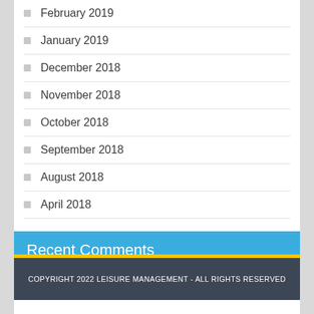February 2019
January 2019
December 2018
November 2018
October 2018
September 2018
August 2018
April 2018
Recent Comments
COPYRIGHT 2022 LEISURE MANAGEMENT - ALL RIGHTS RESERVED